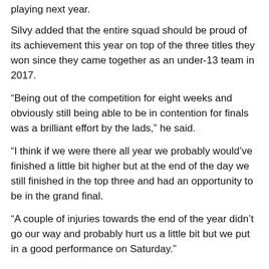playing next year.
Silvy added that the entire squad should be proud of its achievement this year on top of the three titles they won since they came together as an under-13 team in 2017.
“Being out of the competition for eight weeks and obviously still being able to be in contention for finals was a brilliant effort by the lads,” he said.
“I think if we were there all year we probably would’ve finished a little bit higher but at the end of the day we still finished in the top three and had an opportunity to be in the grand final.
“A couple of injuries towards the end of the year didn’t go our way and probably hurt us a little bit but we put in a good performance on Saturday.”